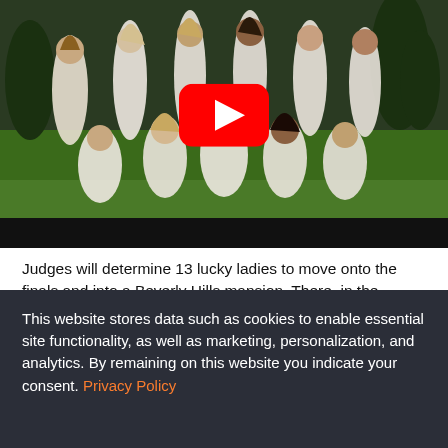[Figure (photo): Group of young women in white dresses posed on grass outdoors, with a YouTube play button overlay indicating a video thumbnail.]
Judges will determine 13 lucky ladies to move onto the finals and into a Beverly Hills mansion. There, in the series' exciting conclusion, one winner will be chosen and she will be awarded one million dollars and a role in a major Hollywood feature.
This website stores data such as cookies to enable essential site functionality, as well as marketing, personalization, and analytics. By remaining on this website you indicate your consent. Privacy Policy